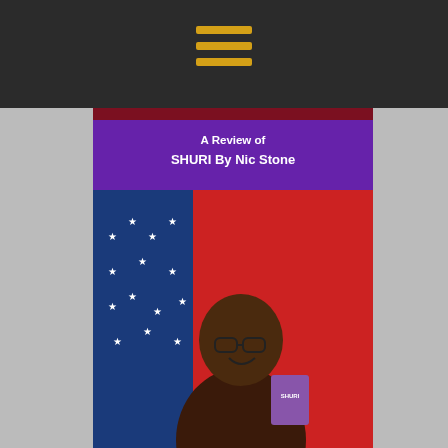[Figure (other): Dark gray top navigation bar with three horizontal yellow/gold hamburger menu lines centered]
[Figure (photo): Thumbnail image for a book review video: purple banner at top reading 'A Review of SHURI By Nic Stone', woman smiling holding a book in front of a Wonder Woman backdrop, website www.aliciamccalla.com shown at bottom. Set against dark red background with gray side borders.]
E-mail Address
[Figure (other): Close (X) button circle on the right side]
Join my Heroes League!
By continuing, you accept the privacy policy. I never send spam, and will not share your email address with anyone.